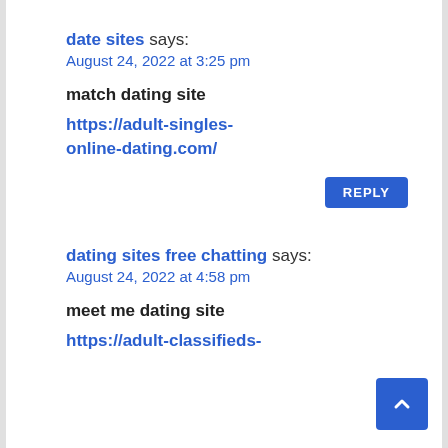date sites says:
August 24, 2022 at 3:25 pm
match dating site
https://adult-singles-online-dating.com/
REPLY
dating sites free chatting says:
August 24, 2022 at 4:58 pm
meet me dating site
https://adult-classifieds-